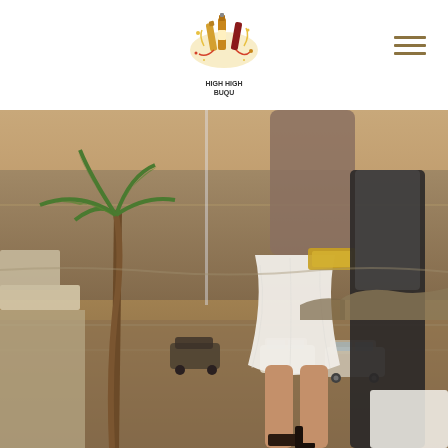[Figure (logo): Colorful logo with bottles and splashes, text reads 'HIGH HIGH BUQU' below]
[Figure (photo): Photo of a couple on a balcony or terrace overlooking the ocean and a parking lot, with a palm tree visible. Woman in white skirt and man in dark pants, coastal scenery with warm sunset tones.]